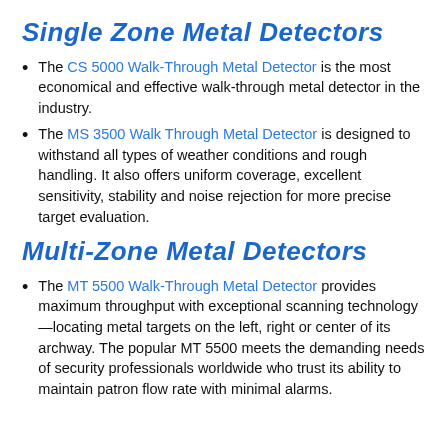Single Zone Metal Detectors
The CS 5000 Walk-Through Metal Detector is the most economical and effective walk-through metal detector in the industry.
The MS 3500 Walk Through Metal Detector is designed to withstand all types of weather conditions and rough handling. It also offers uniform coverage, excellent sensitivity, stability and noise rejection for more precise target evaluation.
Multi-Zone Metal Detectors
The MT 5500 Walk-Through Metal Detector provides maximum throughput with exceptional scanning technology—locating metal targets on the left, right or center of its archway. The popular MT 5500 meets the demanding needs of security professionals worldwide who trust its ability to maintain patron flow rate with minimal alarms.